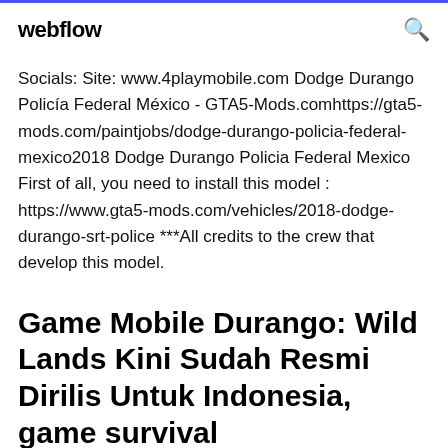webflow
Socials: Site: www.4playmobile.com Dodge Durango Policía Federal México - GTA5-Mods.comhttps://gta5-mods.com/paintjobs/dodge-durango-policia-federal-mexico2018 Dodge Durango Policia Federal Mexico First of all, you need to install this model : https://www.gta5-mods.com/vehicles/2018-dodge-durango-srt-police ***All credits to the crew that develop this model.
Game Mobile Durango: Wild Lands Kini Sudah Resmi Dirilis Untuk Indonesia, game survival